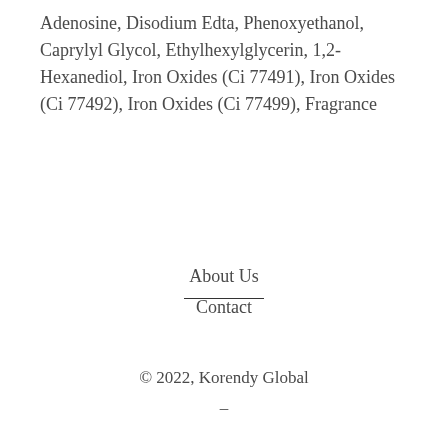Adenosine, Disodium Edta, Phenoxyethanol, Caprylyl Glycol, Ethylhexylglycerin, 1,2-Hexanediol, Iron Oxides (Ci 77491), Iron Oxides (Ci 77492), Iron Oxides (Ci 77499), Fragrance
About Us
Contact
© 2022, Korendy Global
-